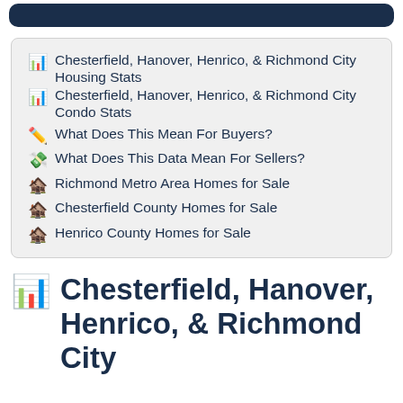📊 Chesterfield, Hanover, Henrico, & Richmond City Housing Stats
📊 Chesterfield, Hanover, Henrico, & Richmond City Condo Stats
✏️ What Does This Mean For Buyers?
💸 What Does This Data Mean For Sellers?
🏚️ Richmond Metro Area Homes for Sale
🏚️ Chesterfield County Homes for Sale
🏚️ Henrico County Homes for Sale
📊 Chesterfield, Hanover, Henrico, & Richmond City